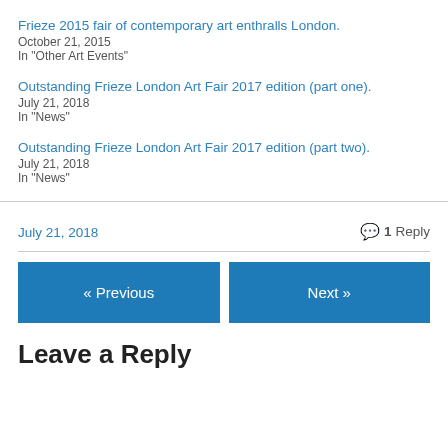Frieze 2015 fair of contemporary art enthralls London.
October 21, 2015
In "Other Art Events"
Outstanding Frieze London Art Fair 2017 edition (part one).
July 21, 2018
In "News"
Outstanding Frieze London Art Fair 2017 edition (part two).
July 21, 2018
In "News"
July 21, 2018
1 Reply
« Previous
Next »
Leave a Reply